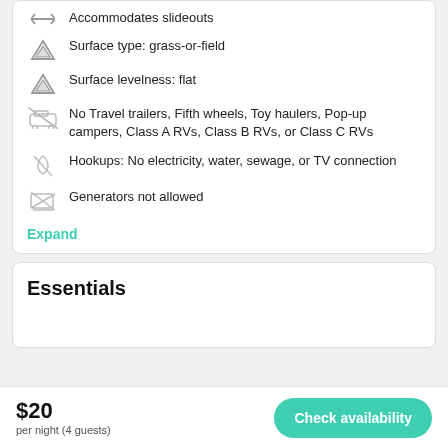Accommodates slideouts
Surface type: grass-or-field
Surface levelness: flat
No Travel trailers, Fifth wheels, Toy haulers, Pop-up campers, Class A RVs, Class B RVs, or Class C RVs
Hookups: No electricity, water, sewage, or TV connection
Generators not allowed
Expand
Essentials
$20 per night (4 guests)
Check availability